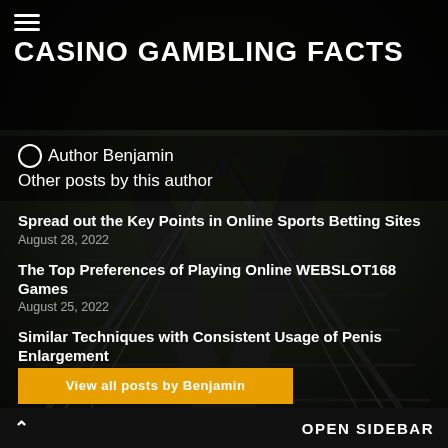CASINO GAMBLING FACTS
Author Benjamin
Other posts by this author
Spread out the Key Points in Online Sports Betting Sites
August 28, 2022
The Top Preferences of Playing Online WEBSLOT168 Games
August 25, 2022
Similar Techniques with Consistent Usage of Penis Enlargement
August 24, 2022
View all posts by Benjamin
OPEN SIDEBAR